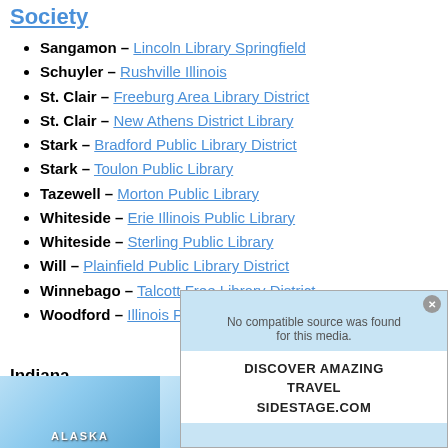Society (link at top)
Sangamon – Lincoln Library Springfield
Schuyler – Rushville Illinois
St. Clair – Freeburg Area Library District
St. Clair – New Athens District Library
Stark – Bradford Public Library District
Stark – Toulon Public Library
Tazewell – Morton Public Library
Whiteside – Erie Illinois Public Library
Whiteside – Sterling Public Library
Will – Plainfield Public Library District
Winnebago – Talcott Free Library District
Woodford – Illinois Prairie District Public Library
Indiana
[Figure (photo): Advertisement overlay showing 'No compatible source was found for this media' with Discover Amazing Travel SideStage.com ad and Alaska glacier photos]